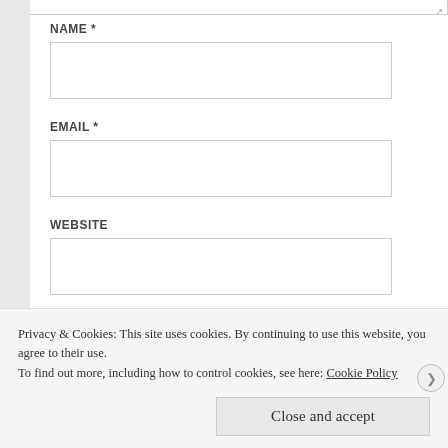NAME *
[Figure (screenshot): Empty text input field for Name]
EMAIL *
[Figure (screenshot): Empty text input field for Email]
WEBSITE
[Figure (screenshot): Empty text input field for Website]
[Figure (screenshot): POST COMMENT button in dark red]
Privacy & Cookies: This site uses cookies. By continuing to use this website, you agree to their use.
To find out more, including how to control cookies, see here: Cookie Policy
Close and accept